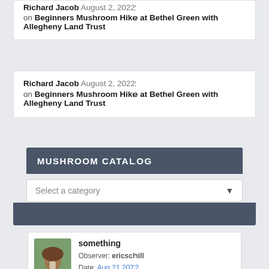Richard Jacob August 2, 2022 on Beginners Mushroom Hike at Bethel Green with Allegheny Land Trust
Richard Jacob August 2, 2022 on Beginners Mushroom Hike at Bethel Green with Allegheny Land Trust
MUSHROOM CATALOG
Select a category
something Observer: ericschill Date: Aug 21 2022 Place: S Sixth Ave, Clarion, PA, US